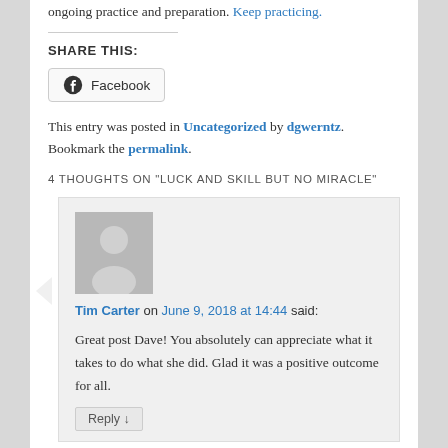ongoing practice and preparation. Keep practicing.
SHARE THIS:
[Figure (other): Facebook share button with Facebook icon]
This entry was posted in Uncategorized by dgwerntz. Bookmark the permalink.
4 THOUGHTS ON "LUCK AND SKILL BUT NO MIRACLE"
[Figure (other): Generic user avatar placeholder image]
Tim Carter on June 9, 2018 at 14:44 said:
Great post Dave! You absolutely can appreciate what it takes to do what she did. Glad it was a positive outcome for all.
Reply ↓